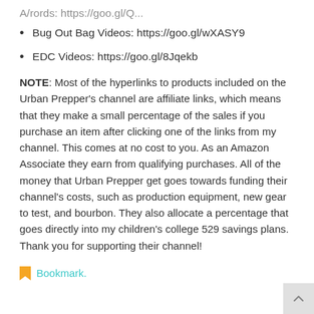Bug Out Bag Videos: https://goo.gl/wXASY9
EDC Videos: https://goo.gl/8Jqekb
NOTE: Most of the hyperlinks to products included on the Urban Prepper's channel are affiliate links, which means that they make a small percentage of the sales if you purchase an item after clicking one of the links from my channel. This comes at no cost to you. As an Amazon Associate they earn from qualifying purchases. All of the money that Urban Prepper get goes towards funding their channel's costs, such as production equipment, new gear to test, and bourbon. They also allocate a percentage that goes directly into my children's college 529 savings plans. Thank you for supporting their channel!
Bookmark.